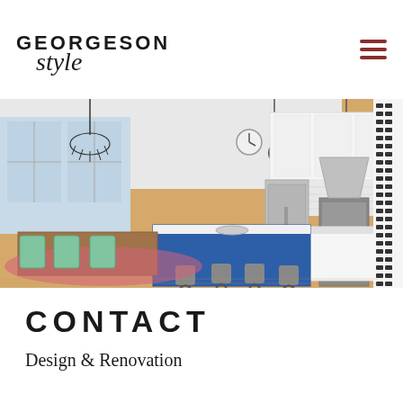GEORGESON style
[Figure (photo): Interior photo of a modern open-plan kitchen and dining room. Features a blue kitchen island with white quartz countertop and bar stools, white cabinetry, stainless steel appliances, subway tile backsplash, a black chandelier over a wooden dining table with mint green chairs on a pink rug, hardwood floors, and a bold black-and-white graphic wallpaper panel on the right.]
CONTACT
Design & Renovation